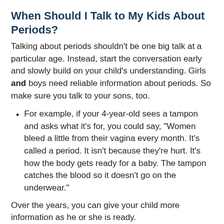When Should I Talk to My Kids About Periods?
Talking about periods shouldn't be one big talk at a particular age. Instead, start the conversation early and slowly build on your child's understanding. Girls and boys need reliable information about periods. So make sure you talk to your sons, too.
For example, if your 4-year-old sees a tampon and asks what it's for, you could say, "Women bleed a little from their vagina every month. It's called a period. It isn't because they're hurt. It's how the body gets ready for a baby. The tampon catches the blood so it doesn't go on the underwear."
Over the years, you can give your child more information as he or she is ready.